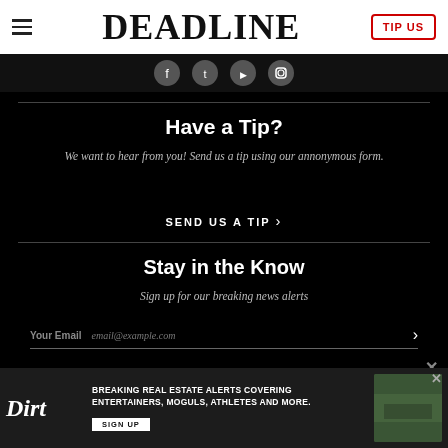DEADLINE | TIP US
[Figure (screenshot): Social media icons (Facebook, Twitter, YouTube, Instagram) in circles on dark bar]
Have a Tip?
We want to hear from you! Send us a tip using our annonymous form.
SEND US A TIP
Stay in the Know
Sign up for our breaking news alerts
Your Email  email@example.com
[Figure (infographic): Dirt advertisement banner: BREAKING REAL ESTATE ALERTS COVERING ENTERTAINERS, MOGULS, ATHLETES AND MORE. SIGN UP]